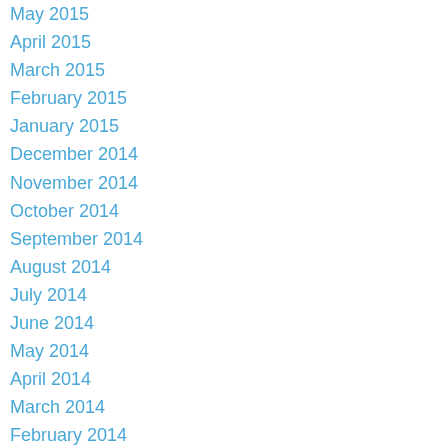May 2015
April 2015
March 2015
February 2015
January 2015
December 2014
November 2014
October 2014
September 2014
August 2014
July 2014
June 2014
May 2014
April 2014
March 2014
February 2014
January 2014
December 2013
October 2013
September 2013
August 2013